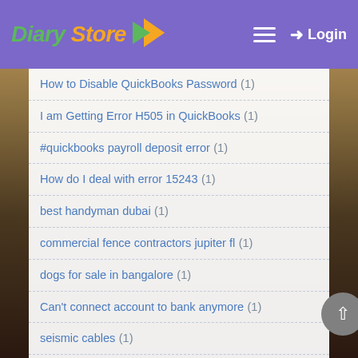Diary Store — Login
How to Disable QuickBooks Password (1)
I am Getting Error H505 in QuickBooks (1)
#quickbooks payroll deposit error (1)
How do I deal with error 15243 (1)
best handyman dubai (1)
commercial fence contractors jupiter fl (1)
dogs for sale in bangalore (1)
Can't connect account to bank anymore (1)
seismic cables (1)
QuickBooks update error 1935 windows 10 (1)
QuickBooks Desktop error 61 (1)
quickbooks keeps crashing windows 10 (1)